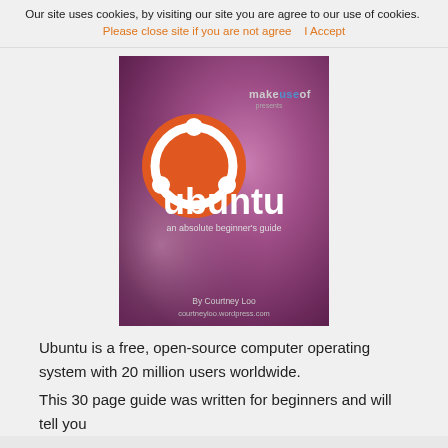Our site uses cookies, by visiting our site you are agree to our use of cookies. Please close site if you are not agree   I Accept
[Figure (illustration): Book cover for 'Ubuntu: an absolute beginner's guide' by Courtney Loo, published by MakeUseOf. Purple/pink gradient background with Ubuntu logo (orange circle with white Ubuntu symbol) and large white 'ubuntu' text. Subtitle: 'an absolute beginner's guide'. Bottom text: 'By Courtney Loo' and 'courtneyloo.wordpress.com'.]
Ubuntu is a free, open-source computer operating system with 20 million users worldwide.
This 30 page guide was written for beginners and will tell you